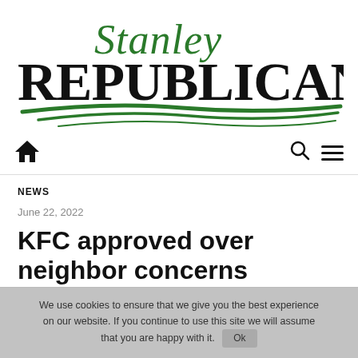[Figure (logo): Stanley Republican newspaper logo — 'Stanley' in green italic script above 'REPUBLICAN' in large black serif capitals, with green swoosh/grass lines beneath]
NEWS
June 22, 2022
KFC approved over neighbor concerns
We use cookies to ensure that we give you the best experience on our website. If you continue to use this site we will assume that you are happy with it.  Ok